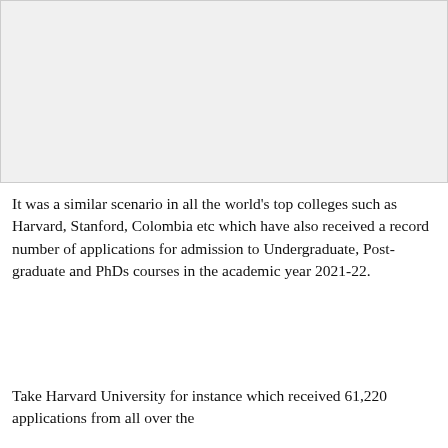[Figure (other): Blank light gray rectangular image placeholder at the top of the page]
It was a similar scenario in all the world's top colleges such as Harvard, Stanford, Colombia etc which have also received a record number of applications for admission to Undergraduate, Post-graduate and PhDs courses in the academic year 2021-22.
Take Harvard University for instance which received 61,220 applications from all over the